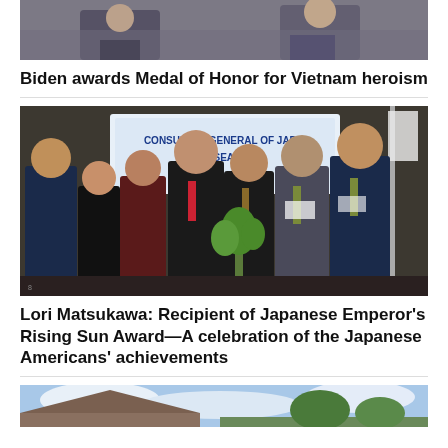[Figure (photo): Top of a photo showing two men in suits, cropped to show shoulders and lower faces]
Biden awards Medal of Honor for Vietnam heroism
[Figure (photo): Group photo of seven people standing in front of a Consulate-General of Japan in Seattle banner, one person holding a small plant]
Lori Matsukawa: Recipient of Japanese Emperor’s Rising Sun Award—A celebration of the Japanese Americans’ achievements
[Figure (photo): Bottom of a photo showing a house exterior and sky, cropped]